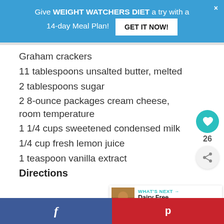Give WEIGHT WATCHERS DIET a try with a 14-day Meal Plan! GET IT NOW!
Graham crackers
11 tablespoons unsalted butter, melted
2 tablespoons sugar
2 8-ounce packages cream cheese, room temperature
1 1/4 cups sweetened condensed milk
1/4 cup fresh lemon juice
1 teaspoon vanilla extract
Directions
f  p  WHAT'S NEXT → Dairy Free Desserts for...